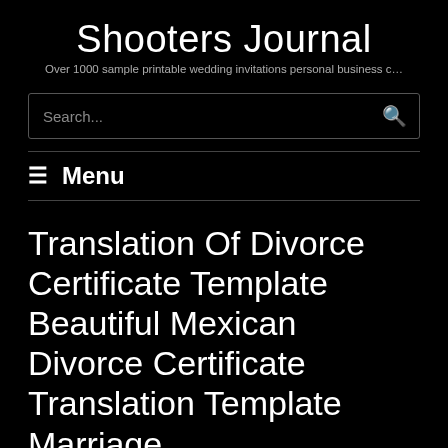Shooters Journal
Over 1000 sample printable wedding invitations personal business c…
[Figure (other): Search input box with magnifying glass icon]
≡ Menu
Translation Of Divorce Certificate Template Beautiful Mexican Divorce Certificate Translation Template Marriage